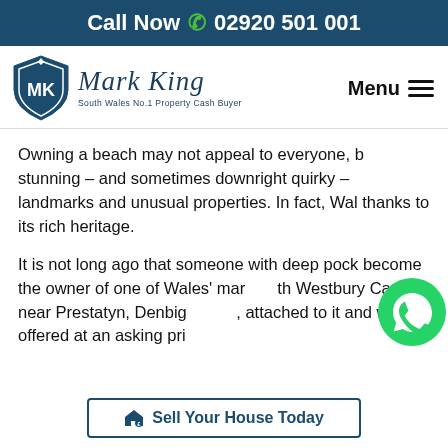Call Now 02920 501 001
[Figure (logo): Mark King South Wales No.1 Property Cash Buyer logo with shield emblem and cursive name, plus Menu button]
Owning a beach may not appeal to everyone, b stunning – and sometimes downright quirky – landmarks and unusual properties. In fact, Wal thanks to its rich heritage.
It is not long ago that someone with deep pock become the owner of one of Wales' mar th Westbury Castle near Prestatyn, Denbig attached to it and was offered at an asking pri